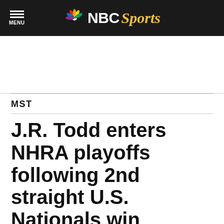NBC Sports
[Figure (other): Advertisement / blank ad placeholder area]
MST
J.R. Todd enters NHRA playoffs following 2nd straight U.S. Nationals win
By Jerry Bonkowski   Sep 5, 2018, 4:07 PM EDT